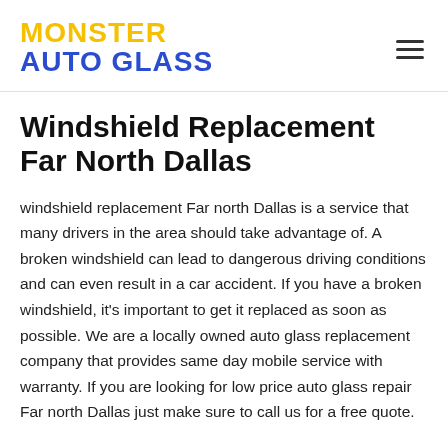MONSTER AUTO GLASS
Windshield Replacement Far North Dallas
windshield replacement Far north Dallas is a service that many drivers in the area should take advantage of. A broken windshield can lead to dangerous driving conditions and can even result in a car accident. If you have a broken windshield, it’s important to get it replaced as soon as possible. We are a locally owned auto glass replacement company that provides same day mobile service with warranty. If you are looking for low price auto glass repair Far north Dallas just make sure to call us for a free quote.